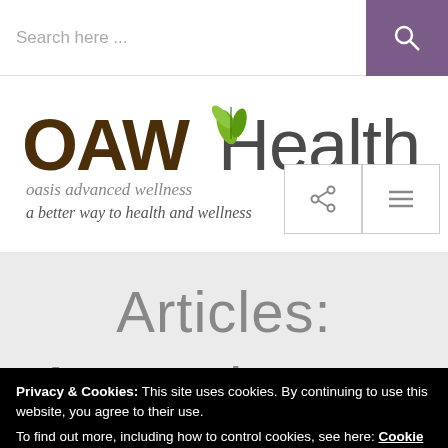Search here ...
[Figure (logo): OAWHealth logo — oasis advanced wellness, a better way to health and wellness]
Articles:
Privacy & Cookies: This site uses cookies. By continuing to use this website, you agree to their use. To find out more, including how to control cookies, see here: Cookie Policy
Close and accept
OAWHealth · Articles · Aromatherapy